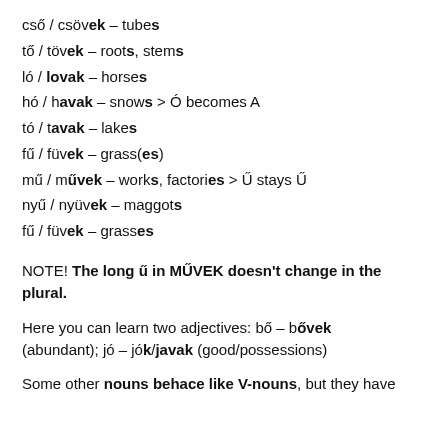cső / csövek – tubes
tő / tövek – roots, stems
ló / lovak – horses
hó / havak – snows > Ó becomes A
tó / tavak – lakes
fű / füvek – grass(es)
mű / művek – works, factories > Ű stays Ű
nyű / nyüvek – maggots
fű / füvek – grasses
NOTE! The long ű in MŰVEK doesn't change in the plural.
Here you can learn two adjectives: bő – bővek (abundant); jó – jók/javak (good/possessions)
Some other nouns behace like V-nouns, but they have t...